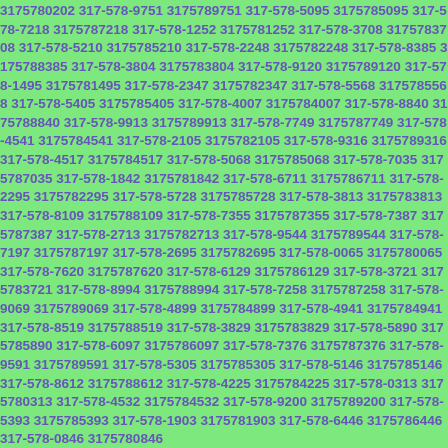3175780202 317-578-9751 3175789751 317-578-5095 3175785095 317-578-7218 3175787218 317-578-1252 3175781252 317-578-3708 3175783708 317-578-5210 3175785210 317-578-2248 3175782248 317-578-8385 3175788385 317-578-3804 3175783804 317-578-9120 3175789120 317-578-1495 3175781495 317-578-2347 3175782347 317-578-5568 3175785568 317-578-5405 3175785405 317-578-4007 3175784007 317-578-8840 3175788840 317-578-9913 3175789913 317-578-7749 3175787749 317-578-4541 3175784541 317-578-2105 3175782105 317-578-9316 3175789316 317-578-4517 3175784517 317-578-5068 3175785068 317-578-7035 3175787035 317-578-1842 3175781842 317-578-6711 3175786711 317-578-2295 3175782295 317-578-5728 3175785728 317-578-3813 3175783813 317-578-8109 3175788109 317-578-7355 3175787355 317-578-7387 3175787387 317-578-2713 3175782713 317-578-9544 3175789544 317-578-7197 3175787197 317-578-2695 3175782695 317-578-0065 3175780065 317-578-7620 3175787620 317-578-6129 3175786129 317-578-3721 3175783721 317-578-8994 3175788994 317-578-7258 3175787258 317-578-9069 3175789069 317-578-4899 3175784899 317-578-4941 3175784941 317-578-8519 3175788519 317-578-3829 3175783829 317-578-5890 3175785890 317-578-6097 3175786097 317-578-7376 3175787376 317-578-9591 3175789591 317-578-5305 3175785305 317-578-5146 3175785146 317-578-8612 3175788612 317-578-4225 3175784225 317-578-0313 3175780313 317-578-4532 3175784532 317-578-9200 3175789200 317-578-5393 3175785393 317-578-1903 3175781903 317-578-6446 3175786446 317-578-0846 3175780846